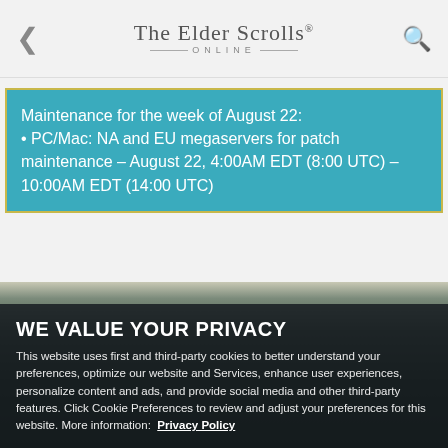The Elder Scrolls Online
Maintenance for the week of August 22:
• PC/Mac: NA and EU megaservers for patch maintenance – August 22, 4:00AM EDT (8:00 UTC) – 10:00AM EDT (14:00 UTC)
Wood Elf/ Bosmer losing stealth passive. An
WE VALUE YOUR PRIVACY
This website uses first and third-party cookies to better understand your preferences, optimize our website and Services, enhance user experiences, personalize content and ads, and provide social media and other third-party features. Click Cookie Preferences to review and adjust your preferences for this website. More information: Privacy Policy